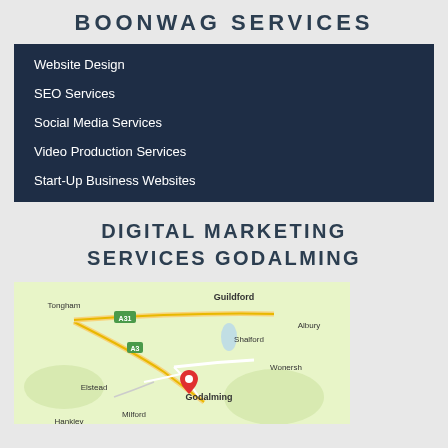BOONWAG SERVICES
Website Design
SEO Services
Social Media Services
Video Production Services
Start-Up Business Websites
DIGITAL MARKETING SERVICES GODALMING
[Figure (map): Google Map showing Godalming area with surrounding places: Tongham, Guildford, Albury, Shalford, Wonersh, Elstead, Godalming (with red pin marker), Milford, Hankley. Roads A31 and A3 visible.]